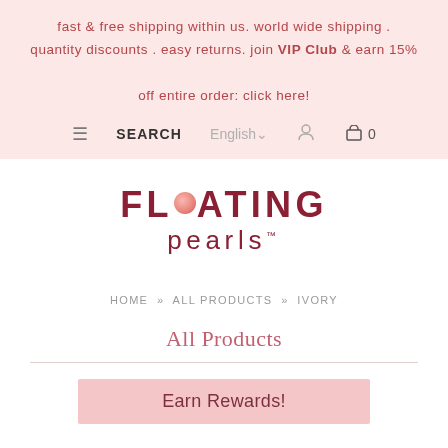fast & free shipping within us. world wide shipping . quantity discounts . easy returns. join VIP Club & earn 15% off entire order: click here!
≡  SEARCH  English∨  🔒  🛒 0
[Figure (logo): Floating Pearls logo — FLOATING in large bold dark red letters with a pink pearl replacing the O, and 'pearls™' below in smaller letters]
HOME » ALL PRODUCTS » IVORY
All Products
Earn Rewards!